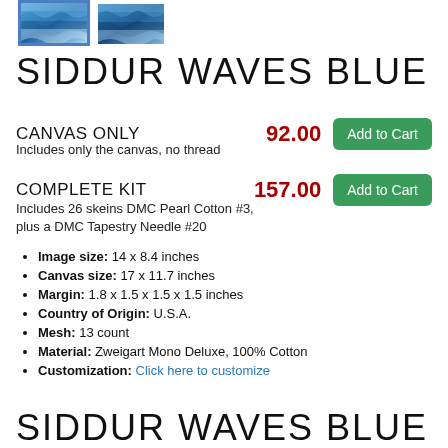[Figure (photo): Two thumbnail images of Siddur Waves Blue needlepoint canvas showing blue wave pattern; left image has a blue border indicating it is selected]
SIDDUR WAVES BLUE
CANVAS ONLY   92.00   Add to Cart
Includes only the canvas, no thread
COMPLETE KIT   157.00   Add to Cart
Includes 26 skeins DMC Pearl Cotton #3, plus a DMC Tapestry Needle #20
Image size: 14 x 8.4 inches
Canvas size: 17 x 11.7 inches
Margin: 1.8 x 1.5 x 1.5 x 1.5 inches
Country of Origin: U.S.A.
Mesh: 13 count
Material: Zweigart Mono Deluxe, 100% Cotton
Customization: Click here to customize
SIDDUR WAVES BLUE